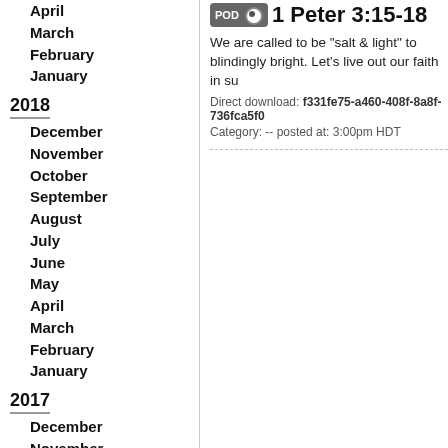April
March
February
January
2018
December
November
October
September
August
July
June
May
April
March
February
January
2017
December
November
October
September
August
July
June
May
April
March
February
January
1 Peter 3:15-18
We are called to be "salt & light" to blindingly bright. Let's live out our faith in su
Direct download: f331fe75-a460-408f-8a8f-736fca5f0
Category: -- posted at: 3:00pm HDT